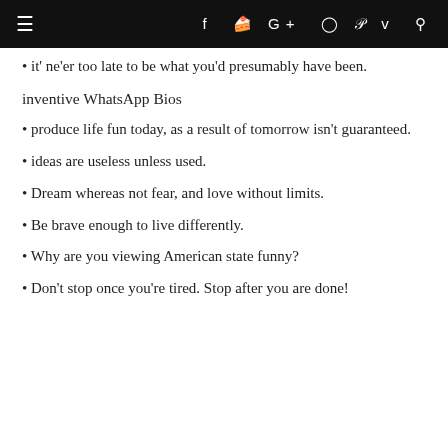≡  f  t  G+  ⊙  p  v  🔍
• it' ne'er too late to be what you'd presumably have been.
inventive WhatsApp Bios
• produce life fun today, as a result of tomorrow isn't guaranteed.
• ideas are useless unless used.
• Dream whereas not fear, and love without limits.
• Be brave enough to live differently.
• Why are you viewing American state funny?
• Don't stop once you're tired. Stop after you are done!